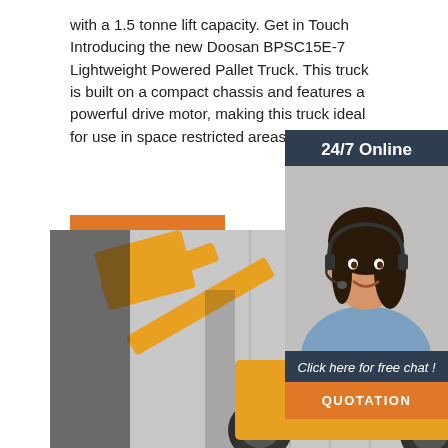with a 1.5 tonne lift capacity. Get in Touch Introducing the new Doosan BPSC15E-7 Lightweight Powered Pallet Truck. This truck is built on a compact chassis and features a powerful drive motor, making this truck ideal for use in space restricted areas such as […]
Get Price
24/7 Online
[Figure (photo): Customer service representative with headset, smiling]
Click here for free chat !
QUOTATION
[Figure (photo): Yellow LT938 construction/mining machine loader in warehouse]